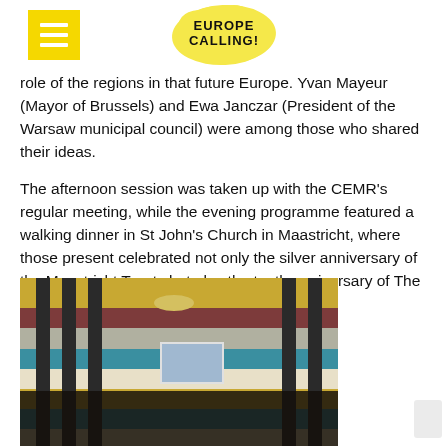EUROPE CALLING!
role of the regions in that future Europe. Yvan Mayeur (Mayor of Brussels) and Ewa Janczar (President of the Warsaw municipal council) were among those who shared their ideas.
The afternoon session was taken up with the CEMR’s regular meeting, while the evening programme featured a walking dinner in St John’s Church in Maastricht, where those present celebrated not only the silver anniversary of the Maastricht Treaty but also the tenth anniversary of The Charter on Gender Equality.
[Figure (photo): Interior of a large circular council chamber with colorful striped walls (gold, burgundy, grey, teal, cream bands), dark columns, a chandelier, a projection screen showing a presentation, and a large group of people gathered on the floor for a group photo.]